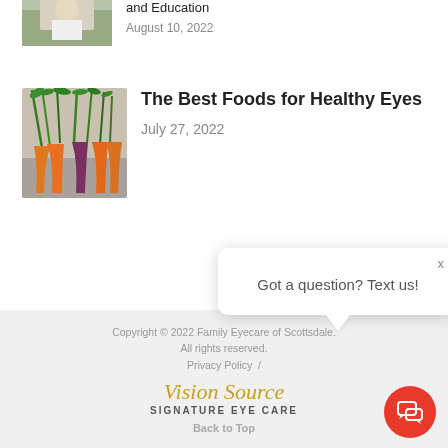[Figure (photo): Partial thumbnail of a person in a field, cropped at top]
and Education
August 10, 2022
[Figure (photo): Colorful fresh carrots with green tops on a surface]
The Best Foods for Healthy Eyes
July 27, 2022
Copyright © 2022 Family Eyecare of Scottsdale. All rights reserved.
Privacy Policy /
Vision Source SIGNATURE EYE CARE
Back to Top
Got a question? Text us!